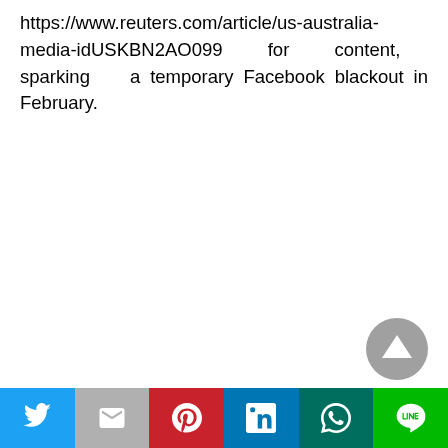https://www.reuters.com/article/us-australia-media-idUSKBN2AO099 for content, sparking a temporary Facebook blackout in February.
[Figure (other): Scroll-to-top button: dark grey circle with upward-pointing triangle (arrow) in white]
[Figure (other): Social media share bar with six buttons: Twitter (blue bird icon), Gmail (grey M icon), Pinterest (red P icon), LinkedIn (blue in icon), WhatsApp (teal WhatsApp icon), LINE (green LINE icon)]